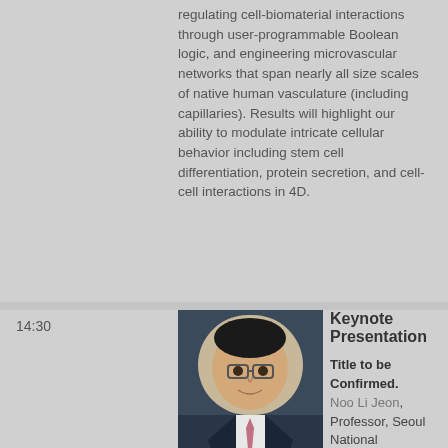regulating cell-biomaterial interactions through user-programmable Boolean logic, and engineering microvascular networks that span nearly all size scales of native human vasculature (including capillaries). Results will highlight our ability to modulate intricate cellular behavior including stem cell differentiation, protein secretion, and cell-cell interactions in 4D.
Keynote Presentation
Title to be Confirmed.
Noo Li Jeon, Professor, Seoul National University
[Figure (photo): Headshot of Noo Li Jeon, an Asian man in a suit and tie.]
Keynote Presentation
[Figure (photo): Headshot of Steven C. George, an older man outdoors in casual attire.]
Using Microfluidics For Immune Cell Trafficking and Capture
Steven C. George, Professor and Chair, Department of Biomedical Engineering, University of California-Davis
Microfluidic technology has played a leading role to advance our understanding of fundamental biological processes including cell separation and isolation, next generation sequencing, and cell migration.